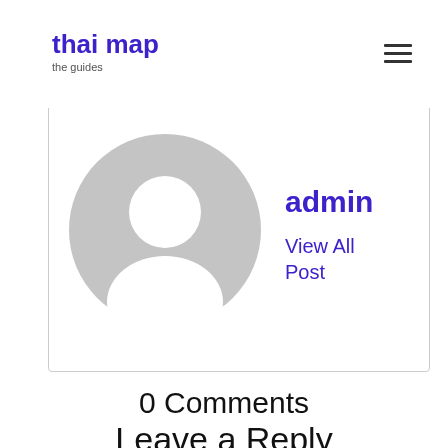thai map
the guides
About the Author
[Figure (illustration): Default avatar/profile picture placeholder showing a gray silhouette of a person (head and shoulders) in a gray circle, with author name 'admin' and link 'View All Post' displayed to the right.]
0 Comments
Leave a Reply
Your email address will not be published. Required fields are marked *